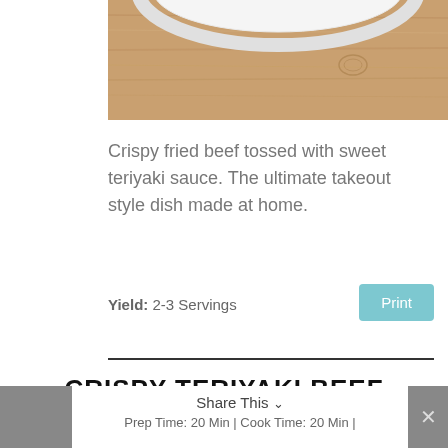[Figure (photo): Photo of a wooden surface with the bottom edge of a white plate visible at the top]
Crispy fried beef tossed with sweet teriyaki sauce. The ultimate takeout style dish made at home.
Yield: 2-3 Servings
Print
CRISPY TERIYAKI BEEF
Share This ∨
Prep Time: 20 Min | Cook Time: 20 Min |